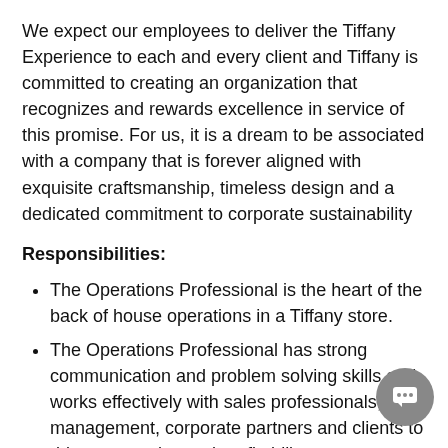We expect our employees to deliver the Tiffany Experience to each and every client and Tiffany is committed to creating an organization that recognizes and rewards excellence in service of this promise. For us, it is a dream to be associated with a company that is forever aligned with exquisite craftsmanship, timeless design and a dedicated commitment to corporate sustainability
Responsibilities:
The Operations Professional is the heart of the back of house operations in a Tiffany store.
The Operations Professional has strong communication and problem solving skills and works effectively with sales professionals, management, corporate partners and clients to drive store sales and profitability.
Duties include providing exceptional client service, order fulfillment, inventory management, and